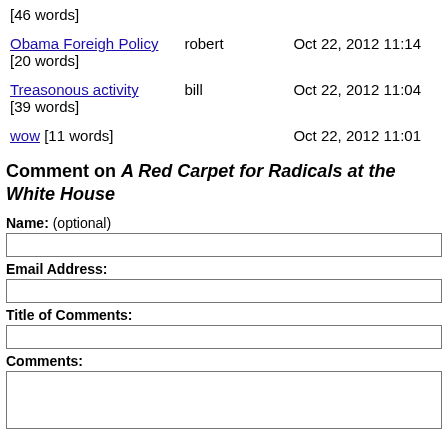| Title | Author | Date |
| --- | --- | --- |
| [46 words] |  |  |
| Obama Foreigh Policy [20 words] | robert | Oct 22, 2012 11:14 |
| Treasonous activity [39 words] | bill | Oct 22, 2012 11:04 |
| wow [11 words] |  | Oct 22, 2012 11:01 |
Comment on A Red Carpet for Radicals at the White House
Name: (optional)
Email Address:
Title of Comments:
Comments: